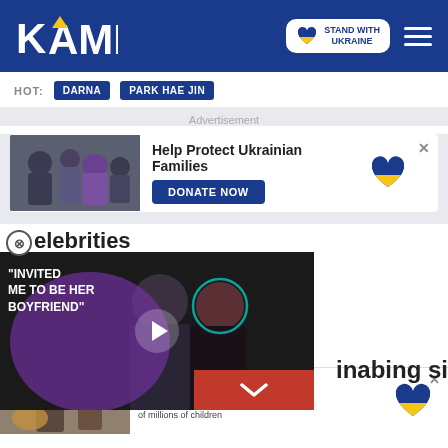KAMI — Stand With Ukraine — Navigation
HOT: DARNA PARK HAE JIN
Advertisement
[Figure (infographic): Ukraine donation ad banner with photo of people wrapped in blankets, text 'Help Protect Ukrainian Families', blue DONATE NOW button, and Ukrainian heart logo]
celebrities
[Figure (screenshot): Video player showing couple (bearded man in suit, woman in black dress), with overlay text 'INVITED ME TO BE HER BOYFRIEND' and play button, red minimize button with chevron, and partial text 'inabing si']
[Figure (infographic): Stand With Ukraine ad: 'Stand With Ukraine — Donate to save the lives of millions of children' with Ukrainian heart logo]